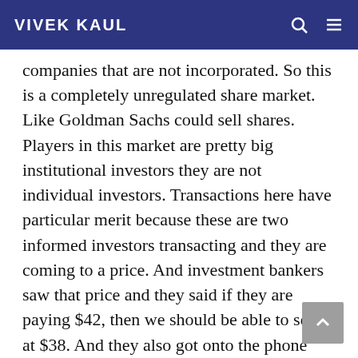VIVEK KAUL
companies that are not incorporated. So this is a completely unregulated share market. Like Goldman Sachs could sell shares. Players in this market are pretty big institutional investors they are not individual investors. Transactions here have particular merit because these are two informed investors transacting and they are coming to a price. And investment bankers saw that price and they said if they are paying $42, then we should be able to sell it at $38. And they also got onto the phone and they called institutional investors. They tried to gauge demand until Thursday evening (May 17,2012).